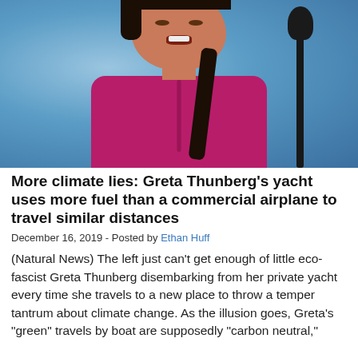[Figure (photo): Young woman with dark braided hair wearing a magenta/pink shirt, speaking at a microphone against a blue background]
More climate lies: Greta Thunberg's yacht uses more fuel than a commercial airplane to travel similar distances
December 16, 2019 - Posted by Ethan Huff
(Natural News) The left just can't get enough of little eco-fascist Greta Thunberg disembarking from her private yacht every time she travels to a new place to throw a temper tantrum about climate change. As the illusion goes, Greta's "green" travels by boat are supposedly "carbon neutral,"